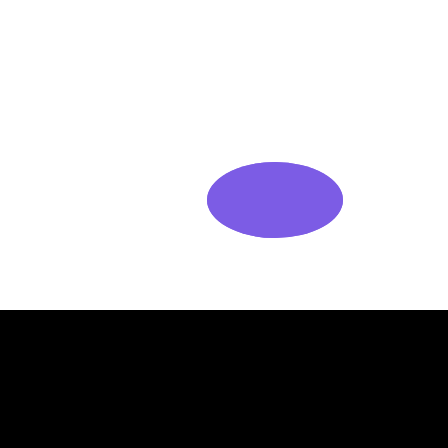[Figure (illustration): Abstract purple blob shape on white background]
Featured Projects
View all projects →